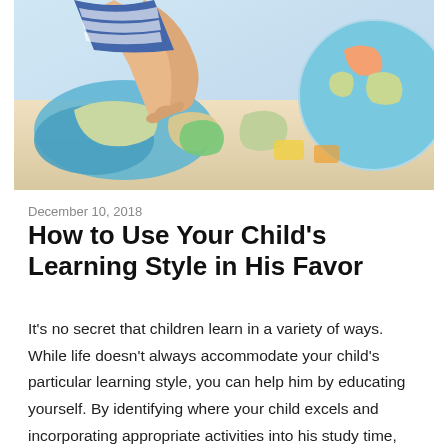[Figure (photo): Child's hands touching a colorful world map puzzle on a table, with a globe visible in the upper right corner]
December 10, 2018
How to Use Your Child’s Learning Style in His Favor
It’s no secret that children learn in a variety of ways. While life doesn’t always accommodate your child’s particular learning style, you can help him by educating yourself. By identifying where your child excels and incorporating appropriate activities into his study time, you can help him achieve academic success early on.The 411 on Learning StylesLearning…